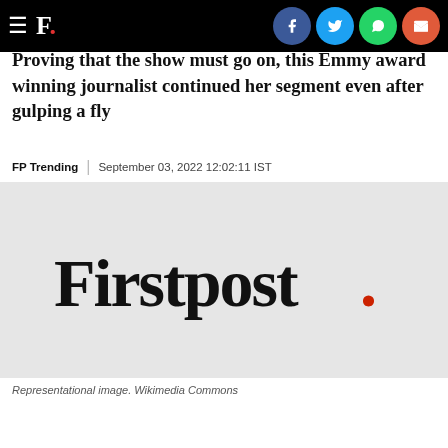F. [social icons: Facebook, Twitter, WhatsApp, Email]
Proving that the show must go on, this Emmy award winning journalist continued her segment even after gulping a fly
FP Trending | September 03, 2022 12:02:11 IST
[Figure (logo): Firstpost logo — black serif text 'Firstpost' with a red period on a light grey background]
Representational image. Wikimedia Commons